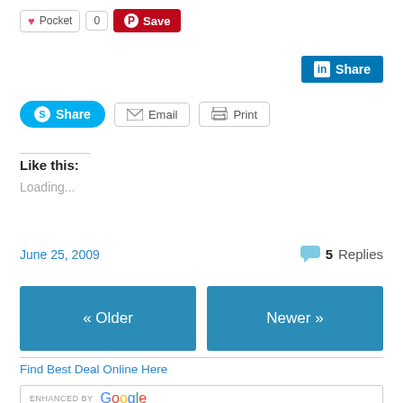[Figure (screenshot): Social sharing buttons: Pocket (with count 0), Pinterest Save, LinkedIn Share, Skype Share, Email, Print]
Like this:
Loading...
June 25, 2009
5 Replies
« Older
Newer »
Find Best Deal Online Here
ENHANCED BY Google